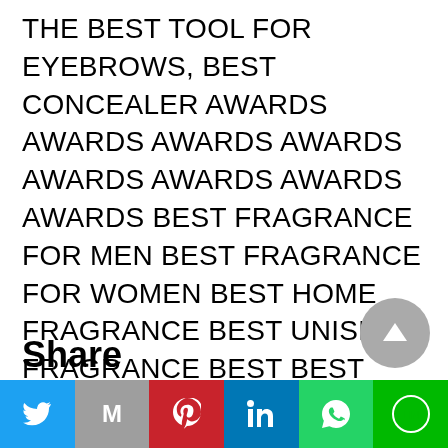THE BEST TOOL FOR EYEBROWS, BEST CONCEALER AWARDS AWARDS AWARDS AWARDS AWARDS AWARDS AWARDS AWARDS BEST FRAGRANCE FOR MEN BEST FRAGRANCE FOR WOMEN BEST HOME FRAGRANCE BEST UNISEX FRAGRANCE BEST BEST FRAGRANCE BEST FRAGRANCE BEST HOME FRAGRANCE BEST UNISEX SCENT BEST
Leave a comment
Share
[Figure (other): Scroll to top button - circular grey arrow up button]
[Figure (infographic): Social sharing bar with buttons: Twitter (blue bird icon), Gmail (grey M), Pinterest (red P icon), LinkedIn (blue in), WhatsApp (green phone icon), LINE (green chat icon)]